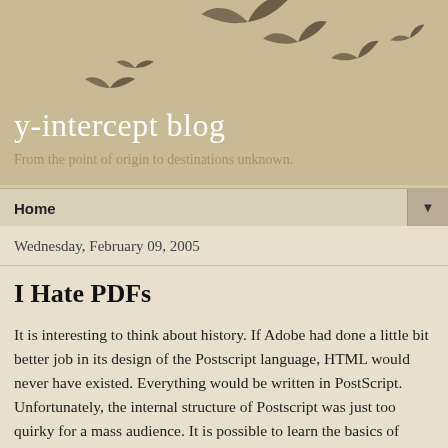[Figure (illustration): Silhouettes of birds in flight arranged in a loose arc across a sandy beige background, forming the blog header decoration.]
y-intercept blog
From the point of origin to destinations unknown.
Home
Wednesday, February 09, 2005
I Hate PDFs
It is interesting to think about history. If Adobe had done a little bit better job in its design of the Postscript language, HTML would never have existed. Everything would be written in PostScript. Unfortunately, the internal structure of Postscript was just too quirky for a mass audience. It is possible to learn the basics of writing HTML in a few short